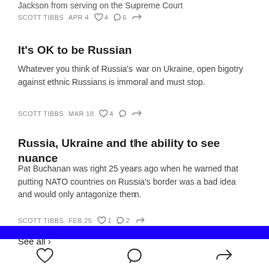…Jackson from serving on the Supreme Court
SCOTT TIBBS   APR 4   ♡ 4   ○ 6   share
It's OK to be Russian
Whatever you think of Russia's war on Ukraine, open bigotry against ethnic Russians is immoral and must stop.
SCOTT TIBBS   MAR 18   ♡ 4   ○   share
Russia, Ukraine and the ability to see nuance
Pat Buchanan was right 25 years ago when he warned that putting NATO countries on Russia's border was a bad idea and would only antagonize them.
SCOTT TIBBS   FEB 25   ♡ 1   ○ 2   share
See all ›